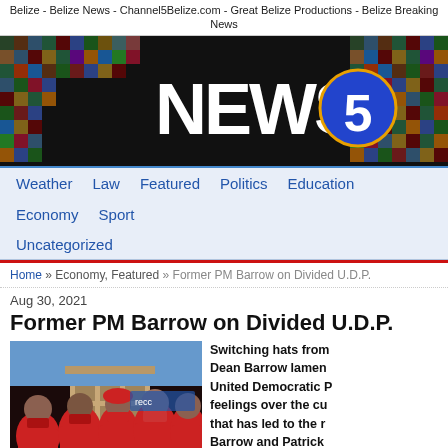Belize - Belize News - Channel5Belize.com - Great Belize Productions - Belize Breaking News
[Figure (logo): News 5 logo banner on dark background with mosaic photo tiles]
Weather  Law  Featured  Politics  Education  Economy  Sport  Uncategorized
Home » Economy, Featured » Former PM Barrow on Divided U.D.P.
Aug 30, 2021
Former PM Barrow on Divided U.D.P.
[Figure (photo): Group of men in red shirts and red face masks standing together outdoors]
Switching hats from Dean Barrow lamented United Democratic feelings over the cu that has led to the r Barrow and Patrick says as long as the not be able to effec